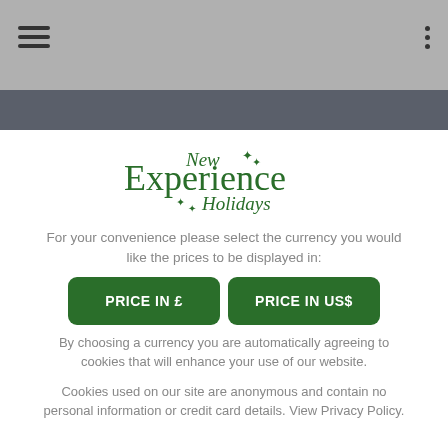Navigation header with hamburger menu and options dots
[Figure (logo): New Experience Holidays logo in green serif font with leaf decorations]
For your convenience please select the currency you would like the prices to be displayed in:
PRICE IN £
PRICE IN US$
By choosing a currency you are automatically agreeing to cookies that will enhance your use of our website.
Cookies used on our site are anonymous and contain no personal information or credit card details. View Privacy Policy.